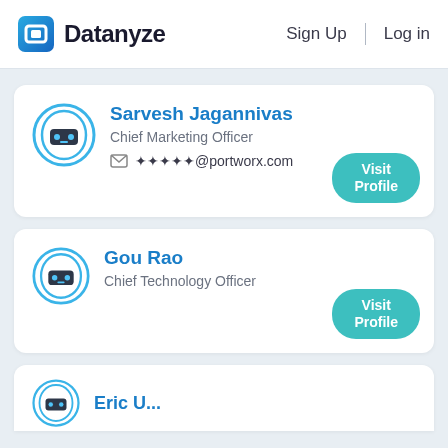Datanyze   Sign Up   Log in
Sarvesh Jagannivas
Chief Marketing Officer
✉ ●●●●●@portworx.com
Visit Profile
Gou Rao
Chief Technology Officer
Visit Profile
Eric U...